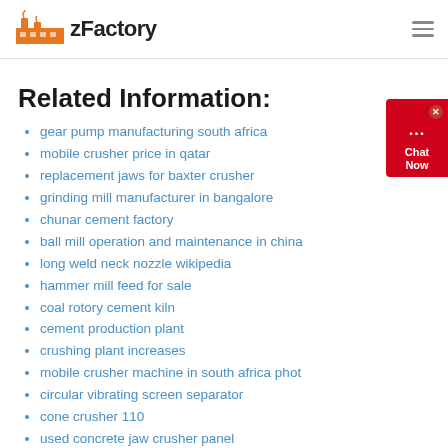zFactory
Related Information:
gear pump manufacturing south africa
mobile crusher price in qatar
replacement jaws for baxter crusher
grinding mill manufacturer in bangalore
chunar cement factory
ball mill operation and maintenance in china
long weld neck nozzle wikipedia
hammer mill feed for sale
coal rotory cement kiln
cement production plant
crushing plant increases
mobile crusher machine in south africa phot
circular vibrating screen separator
cone crusher 110
used concrete jaw crusher panel